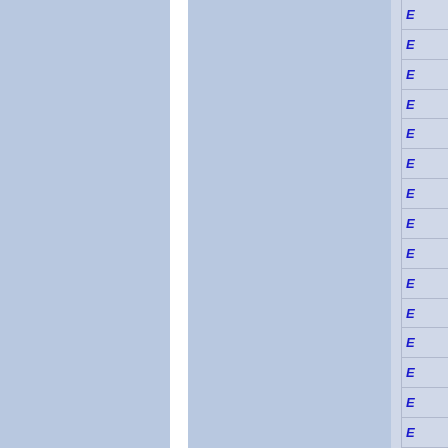[Figure (other): Page layout showing two large blue-grey column panels separated by a white vertical divider, with a right sidebar containing 15 rows each showing a blue bold italic letter 'E', separated by horizontal lines on a light blue-grey background.]